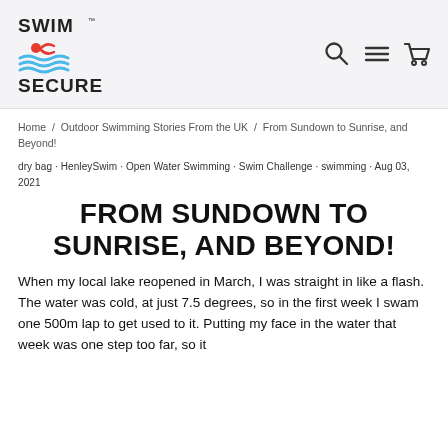Swim Secure [logo] with search, navigation, and cart icons
Home / Outdoor Swimming Stories From the UK / From Sundown to Sunrise, and Beyond!
dry bag · HenleySwim · Open Water Swimming · Swim Challenge · swimming · Aug 03, 2021
FROM SUNDOWN TO SUNRISE, AND BEYOND!
When my local lake reopened in March, I was straight in like a flash. The water was cold, at just 7.5 degrees, so in the first week I swam one 500m lap to get used to it. Putting my face in the water that week was one step too far, so it